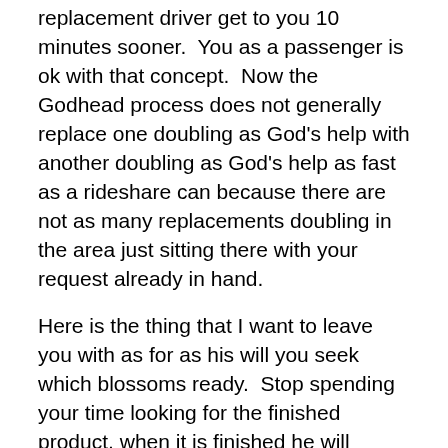replacement driver get to you 10 minutes sooner.  You as a passenger is ok with that concept.  Now the Godhead process does not generally replace one doubling as God's help with another doubling as God's help as fast as a rideshare can because there are not as many replacements doubling in the area just sitting there with your request already in hand.
Here is the thing that I want to leave you with as for as his will you seek which blossoms ready.  Stop spending your time looking for the finished product, when it is finished he will blossom for you to see,  and then enter into.  Spend your time in the early stages of the Godhead process for this is where the Lord will have more need of you in bodily form to make the invisible start to become visible.  There may be some faith substance just sitting in someone's corner, and when the Holy spirit moves you into position to